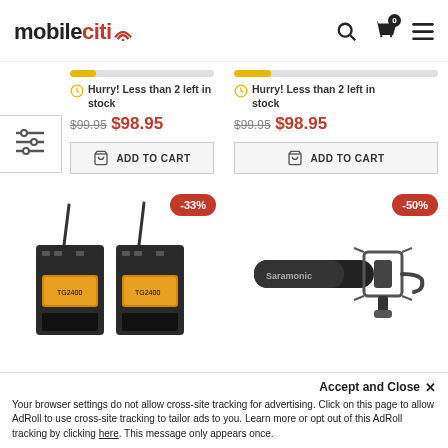[Figure (screenshot): mobileciti website header with logo, search icon, cart icon (0), and hamburger menu]
Hurry! Less than 2 left in stock
$99.95 $98.95
ADD TO CART
Hurry! Less than 2 left in stock
$99.95 $98.95
ADD TO CART
[Figure (photo): Two black wireless microphone transmitter/receiver units with antennas, -33% discount badge]
[Figure (photo): Saramonic shotgun microphone with shock mount, -50% discount badge]
Accept and Close ✕
Your browser settings do not allow cross-site tracking for advertising. Click on this page to allow AdRoll to use cross-site tracking to tailor ads to you. Learn more or opt out of this AdRoll tracking by clicking here. This message only appears once.